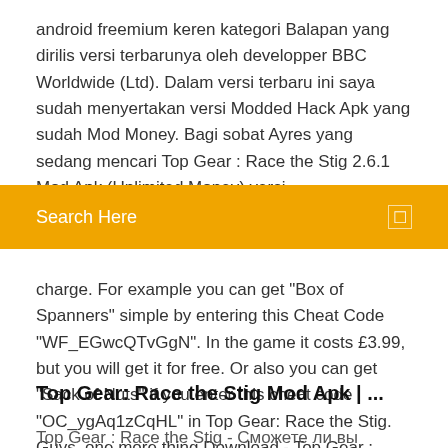android freemium keren kategori Balapan yang dirilis versi terbarunya oleh developper BBC Worldwide (Ltd). Dalam versi terbaru ini saya sudah menyertakan versi Modded Hack Apk yang sudah Mod Money. Bagi sobat Ayres yang sedang mencari Top Gear : Race the Stig 2.6.1 Mod Apk (Unlimited Money) versi
Search Here
charge. For example you can get "Box of Spanners" simple by entering this Cheat Code "WF_EGwcQTvGgN". In the game it costs £3.99, but you will get it for free. Or also you can get "Sack of Nuts" if you enter this cheat code "OC_ygAq1zCqHL" in Top Gear: Race the Stig. Guys, one more thing Download - Top Gear : Race the Stig APK/MOD - Eu ...
Top Gear: Race the Stig Mod Apk | ...
Top Gear : Race the Stig - Сможете ли вы обогнать